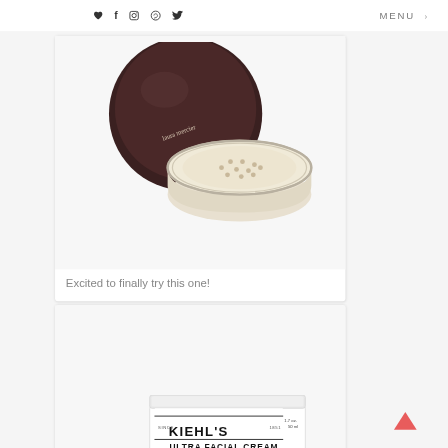♥  f  📷   pinterest  twitter  |  MENU
[Figure (photo): Laura Mercier loose setting powder compact with dark brown lid and beige powder in an open round container with sifter holes]
Excited to finally try this one!
[Figure (photo): Kiehl's Ultra Facial Cream white jar with black label text showing product name and description]
One of my all time favorites!